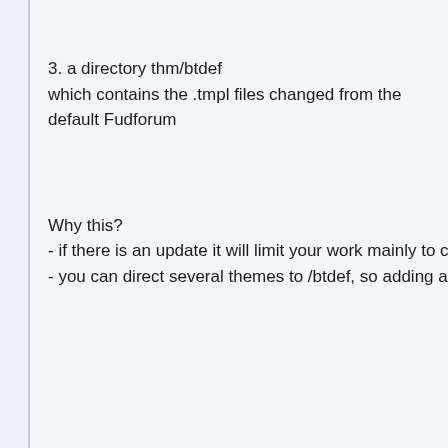3. a directory thm/btdef
which contains the .tmpl files changed from the default Fudforum
Why this?
- if there is an update it will limit your work mainly to check the files in /btd
- you can direct several themes to /btdef, so adding a new template with j